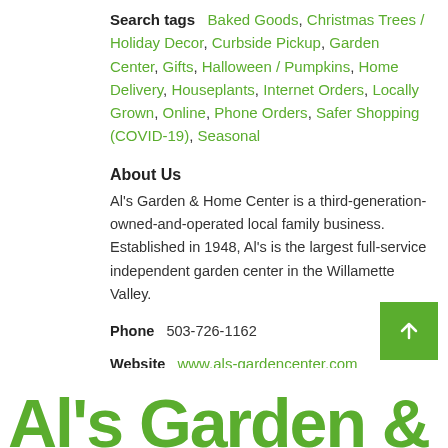Search tags  Baked Goods, Christmas Trees / Holiday Decor, Curbside Pickup, Garden Center, Gifts, Halloween / Pumpkins, Home Delivery, Houseplants, Internet Orders, Locally Grown, Online, Phone Orders, Safer Shopping (COVID-19), Seasonal
About Us
Al's Garden & Home Center is a third-generation-owned-and-operated local family business. Established in 1948, Al's is the largest full-service independent garden center in the Willamette Valley.
Phone  503-726-1162
Website  www.als-gardencenter.com
Facebook  www.facebook.com/AlsGardenAndHome/
[Figure (other): Green back-to-top button with upward arrow icon]
Al's Garden & Home...